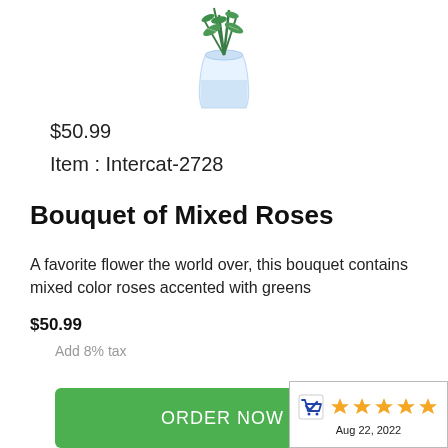[Figure (photo): Bouquet of mixed roses in a glass vase with water, viewed from slightly above, showing green foliage]
$50.99
Item : Intercat-2728
Bouquet of Mixed Roses
A favorite flower the world over, this bouquet contains mixed color roses accented with greens
$50.99
Add 8% tax
[Figure (other): Green ORDER NOW button]
[Figure (other): Rating badge with shopping cart checkmark icon and 5 gold stars, dated Aug 22, 2022]